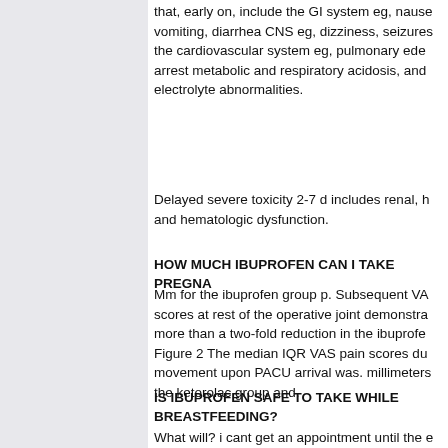that, early on, include the GI system eg, nausea vomiting, diarrhea CNS eg, dizziness, seizures the cardiovascular system eg, pulmonary edema arrest metabolic and respiratory acidosis, and electrolyte abnormalities.
Delayed severe toxicity 2-7 d includes renal, h and hematologic dysfunction.
HOW MUCH IBUPROFEN CAN I TAKE PREGNA
Mm for the ibuprofen group p. Subsequent VAS scores at rest of the operative joint demonstrat more than a two-fold reduction in the ibuprofem Figure 2 The median IQR VAS pain scores dur movement upon PACU arrival was. millimeters the ketorolac group and.
IS IBUPROFEN SAFE TO TAKE WHILE BREASTFEEDING?
What will? i cant get an appointment until the e january/beginning of february. i dont want to de